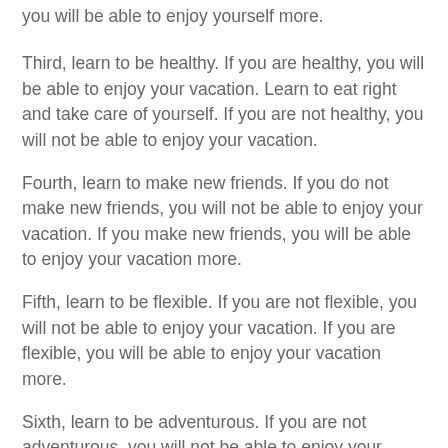you will be able to enjoy yourself more.
Third, learn to be healthy. If you are healthy, you will be able to enjoy your vacation. Learn to eat right and take care of yourself. If you are not healthy, you will not be able to enjoy your vacation.
Fourth, learn to make new friends. If you do not make new friends, you will not be able to enjoy your vacation. If you make new friends, you will be able to enjoy your vacation more.
Fifth, learn to be flexible. If you are not flexible, you will not be able to enjoy your vacation. If you are flexible, you will be able to enjoy your vacation more.
Sixth, learn to be adventurous. If you are not adventurous, you will not be able to enjoy your vacation.